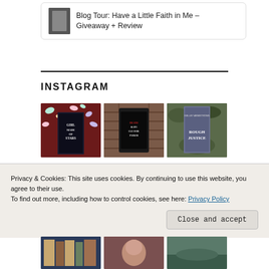Blog Tour: Have a Little Faith in Me – Giveaway + Review
INSTAGRAM
[Figure (photo): Instagram grid of book photos: Girl Made of Stars with colorful candy backdrop, The Death and Life of Eleanor Parker on brick background, Rough Justice by Kelley Armstrong on moss background]
[Figure (photo): Instagram grid second row: bookshelf photo, portrait, and outdoor scene]
Privacy & Cookies: This site uses cookies. By continuing to use this website, you agree to their use.
To find out more, including how to control cookies, see here: Privacy Policy
Close and accept